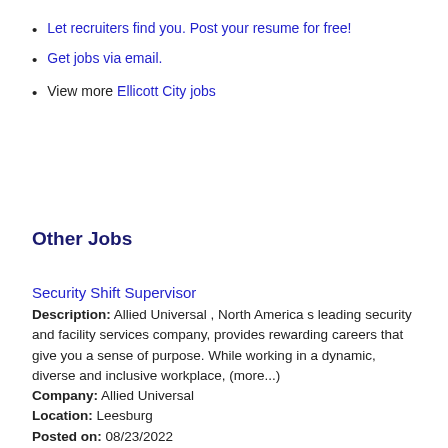Let recruiters find you. Post your resume for free!
Get jobs via email.
View more Ellicott City jobs
Other Jobs
Security Shift Supervisor
Description: Allied Universal , North America s leading security and facility services company, provides rewarding careers that give you a sense of purpose. While working in a dynamic, diverse and inclusive workplace, (more...) Company: Allied Universal Location: Leesburg Posted on: 08/23/2022